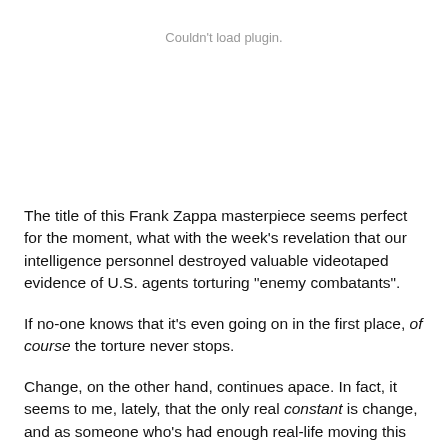Couldn't load plugin.
The title of this Frank Zappa masterpiece seems perfect for the moment, what with the week's revelation that our intelligence personnel destroyed valuable videotaped evidence of U.S. agents torturing "enemy combatants".
If no-one knows that it's even going on in the first place, of course the torture never stops.
Change, on the other hand, continues apace. In fact, it seems to me, lately, that the only real constant is change, and as someone who's had enough real-life moving this fall to last her a while, I'm glad this weekend's efforts are confined to the virtual kind. It's a big old blog-moving day